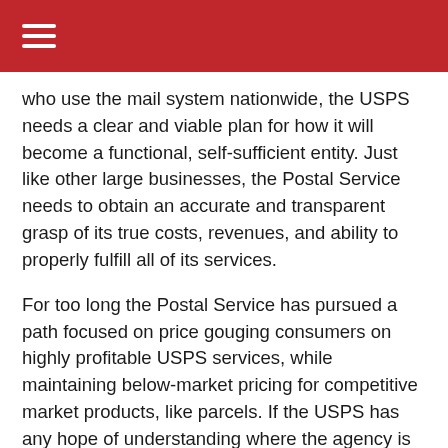who use the mail system nationwide, the USPS needs a clear and viable plan for how it will become a functional, self-sufficient entity. Just like other large businesses, the Postal Service needs to obtain an accurate and transparent grasp of its true costs, revenues, and ability to properly fulfill all of its services.
For too long the Postal Service has pursued a path focused on price gouging consumers on highly profitable USPS services, while maintaining below-market pricing for competitive market products, like parcels. If the USPS has any hope of understanding where the agency is gaining and losing money, it must cease comingling the balance sheets of all of its business units. This is just one of many areas for new USPS leadership address as it works to support the nation's economy."